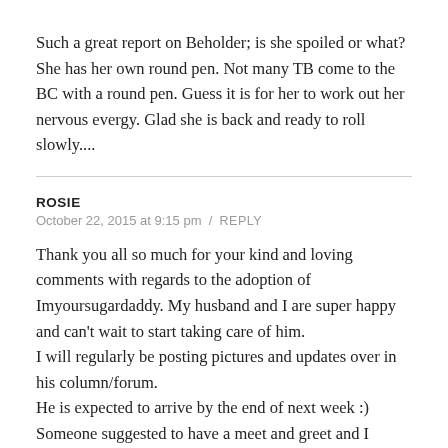Such a great report on Beholder; is she spoiled or what? She has her own round pen. Not many TB come to the BC with a round pen. Guess it is for her to work out her nervous evergy. Glad she is back and ready to roll slowly....
ROSIE
October 22, 2015 at 9:15 pm / REPLY
Thank you all so much for your kind and loving comments with regards to the adoption of Imyoursugardaddy. My husband and I are super happy and can't wait to start taking care of him.
I will regularly be posting pictures and updates over in his column/forum.
He is expected to arrive by the end of next week :)
Someone suggested to have a meet and greet and I